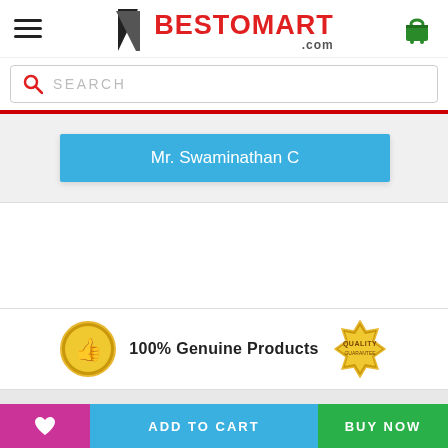[Figure (logo): BESTOMART.com logo with diagonal slash and red text]
SEARCH
Mr. Swaminathan C
[Figure (illustration): Gold thumbs up badge and gold Quality Guarantee seal badge]
100% Genuine Products
ADD TO CART
BUY NOW